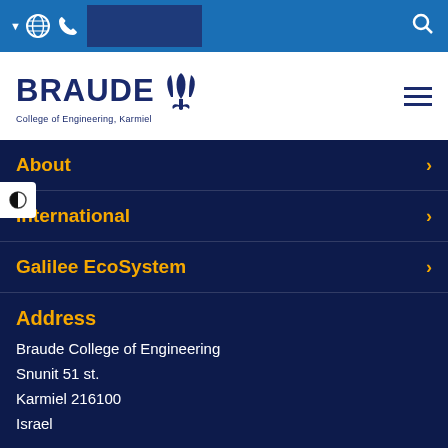Braude College of Engineering - Navigation bar with globe, phone, and search icons
[Figure (logo): Braude College of Engineering, Karmiel logo with navy text and tulip emblem]
About
International
Galilee EcoSystem
Address
Braude College of Engineering
Snunit 51 st.
Karmiel 216100
Israel